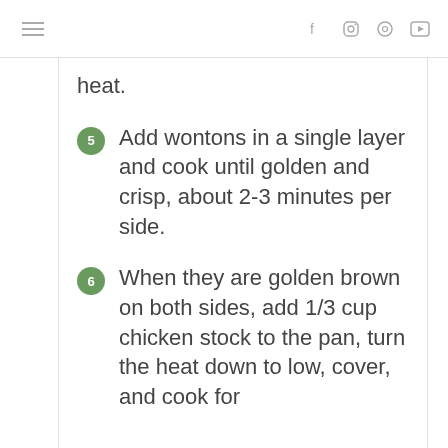≡  f  IG  P  ▶
heat.
5  Add wontons in a single layer and cook until golden and crisp, about 2-3 minutes per side.
6  When they are golden brown on both sides, add 1/3 cup chicken stock to the pan, turn the heat down to low, cover, and cook for